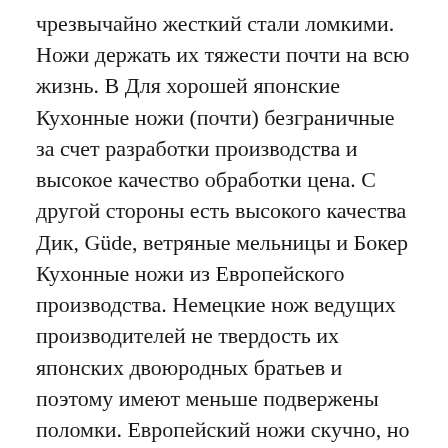чрезвычайно жесткий стали ломкими. Ножи держать их тяжести почти на всю жизнь. В Для хорошей японские Кухонные ножи (почти) безграничные за счет разработки производства и высокое качество обработки цена. С другой стороны есть высокого качества Дик, Güde, ветряные мельницы и Бокер Кухонные ножи из Европейского производства. Немецкие нож ведущих производителей не твердость их японских двоюродных братьев и поэтому имеют меньше подвержены поломки. Европейский ножи скучно, но быстрее. Преимуществом Европейской нож является цена, которая движется в среднем диапазоне примерно